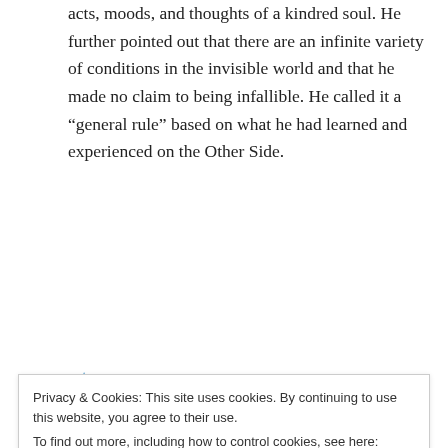acts, moods, and thoughts of a kindred soul. He further pointed out that there are an infinite variety of conditions in the invisible world and that he made no claim to being infallible. He called it a “general rule” based on what he had learned and experienced on the Other Side.
★ Like
↵ Reply
Norman Jenulis on November 5, 2017 at 11:22 pm
Privacy & Cookies: This site uses cookies. By continuing to use this website, you agree to their use.
To find out more, including how to control cookies, see here: Cookie Policy
Close and accept
by Stephen Bl... and Reincarnation A Criti...